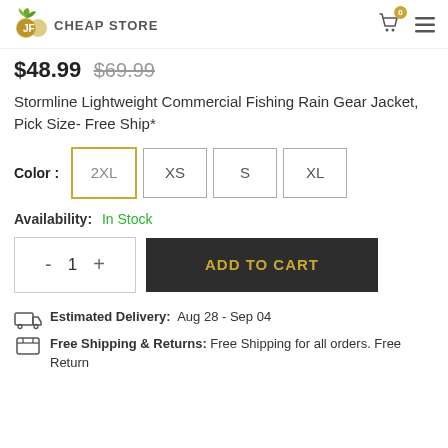JF CHEAP STORE
$48.99 $69.99
Stormline Lightweight Commercial Fishing Rain Gear Jacket, Pick Size- Free Ship*
Color : 2XL XS S XL
Availability: In Stock
- 1 + ADD TO CART
Estimated Delivery: Aug 28 - Sep 04
Free Shipping & Returns: Free Shipping for all orders. Free Return